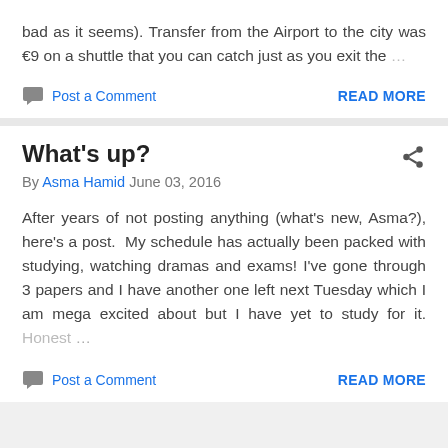bad as it seems). Transfer from the Airport to the city was €9 on a shuttle that you can catch just as you exit the …
Post a Comment   READ MORE
What's up?
By Asma Hamid June 03, 2016
After years of not posting anything (what's new, Asma?), here's a post.  My schedule has actually been packed with studying, watching dramas and exams! I've gone through 3 papers and I have another one left next Tuesday which I am mega excited about but I have yet to study for it. Honest …
Post a Comment   READ MORE